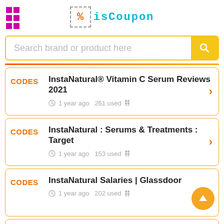isCoupon logo and navigation header
Search brand or product here
CODES | InstaNatural® Vitamin C Serum Reviews 2021 | 1 year ago 261 used
CODES | InstaNatural : Serums & Treatments : Target | 1 year ago 153 used
CODES | InstaNatural Salaries | Glassdoor | 1 year ago 202 used